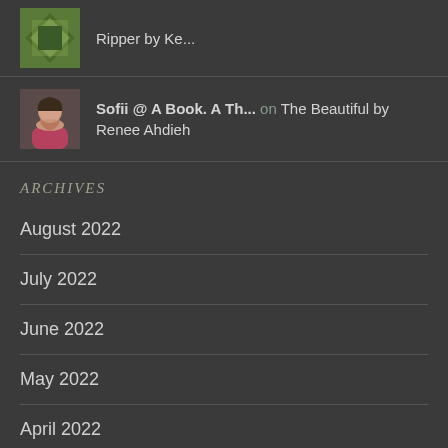Ripper by Ke...
Sofii @ A Book. A Th... on The Beautiful by Renee Ahdieh
ARCHIVES
August 2022
July 2022
June 2022
May 2022
April 2022
March 2022